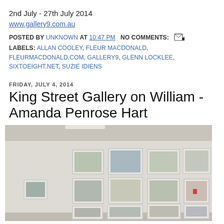2nd July - 27th July 2014
www.gallery9.com.au
POSTED BY UNKNOWN AT 10:47 PM   NO COMMENTS:
LABELS: ALLAN COOLEY, FLEUR MACDONALD, FLEURMACDONALD.COM, GALLERY9, GLENN LOCKLEE, SIXTOEIGHT.NET, SUZIE IDIENS
FRIDAY, JULY 4, 2014
King Street Gallery on William - Amanda Penrose Hart
[Figure (photo): Interior of an art gallery showing a wall with numerous framed artworks (landscape paintings/drawings) arranged in a grid-like pattern across the wall.]